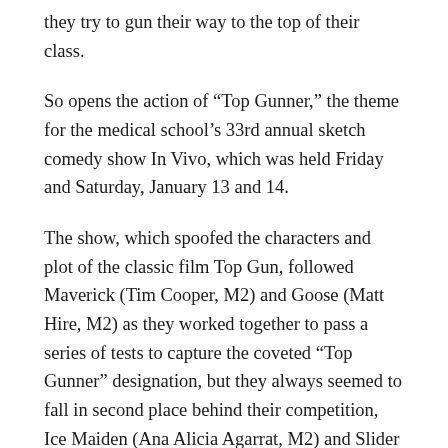they try to gun their way to the top of their class.
So opens the action of “Top Gunner,” the theme for the medical school’s 33rd annual sketch comedy show In Vivo, which was held Friday and Saturday, January 13 and 14.
The show, which spoofed the characters and plot of the classic film Top Gun, followed Maverick (Tim Cooper, M2) and Goose (Matt Hire, M2) as they worked together to pass a series of tests to capture the coveted “Top Gunner” designation, but they always seemed to fall in second place behind their competition, Ice Maiden (Ana Alicia Agarrat, M2) and Slider (Ashima Singal, M2).